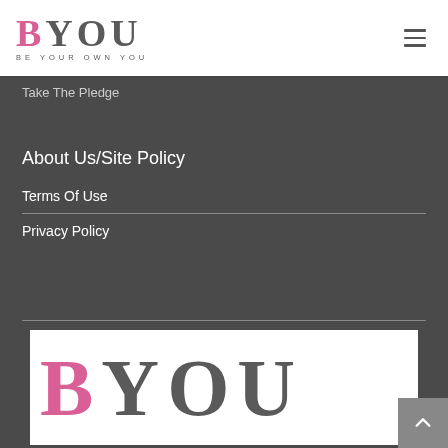BYOU — BE YOUR OWN YOU
Take The Pledge
About Us/Site Policy
Terms Of Use
Privacy Policy
[Figure (logo): BYOU logo — large serif letters, B in pink and YOU in dark grey]